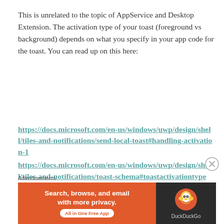This is unrelated to the topic of AppService and Desktop Extension. The activation type of your toast (foreground vs background) depends on what you specify in your app code for the toast. You can read up on this here:
https://docs.microsoft.com/en-us/windows/uwp/design/shell/tiles-and-notifications/send-local-toast#handling-activation-1
https://docs.microsoft.com/en-us/windows/uwp/design/shell/tiles-and-notifications/toast-schema#toastactivationtype
Advertisements
[Figure (other): DuckDuckGo advertisement banner with orange background. Left side reads 'Search, browse, and email with more privacy. All in One Free App'. Right side shows DuckDuckGo logo duck icon on dark background with 'DuckDuckGo' text.]